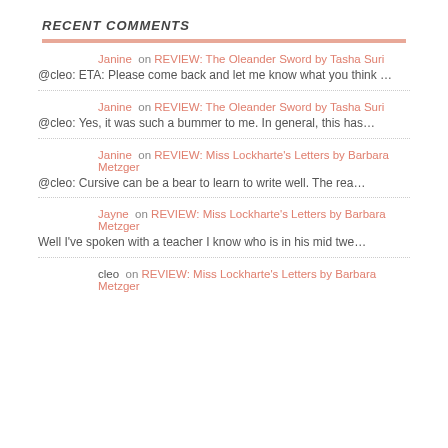RECENT COMMENTS
Janine on REVIEW: The Oleander Sword by Tasha Suri
@cleo: ETA: Please come back and let me know what you think …
Janine on REVIEW: The Oleander Sword by Tasha Suri
@cleo: Yes, it was such a bummer to me. In general, this has…
Janine on REVIEW: Miss Lockharte's Letters by Barbara Metzger
@cleo: Cursive can be a bear to learn to write well. The rea…
Jayne on REVIEW: Miss Lockharte's Letters by Barbara Metzger
Well I've spoken with a teacher I know who is in his mid twe…
cleo on REVIEW: Miss Lockharte's Letters by Barbara Metzger